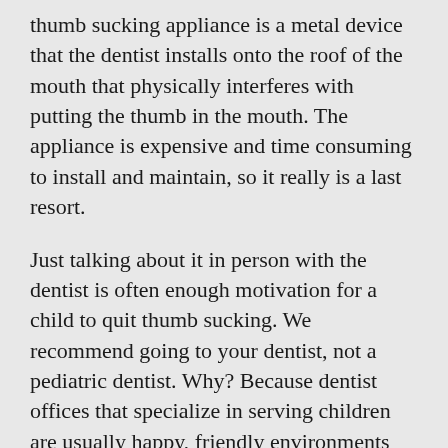thumb sucking appliance is a metal device that the dentist installs onto the roof of the mouth that physically interferes with putting the thumb in the mouth. The appliance is expensive and time consuming to install and maintain, so it really is a last resort.
Just talking about it in person with the dentist is often enough motivation for a child to quit thumb sucking. We recommend going to your dentist, not a pediatric dentist. Why? Because dentist offices that specialize in serving children are usually happy, friendly environments designed to relax children – this is not what you're going for. Let your dentist do the scaring while you be the hero. Your dentist is an authority figure and will confirm everything you've been telling your kiddo, and explain how the thumb sucking dental